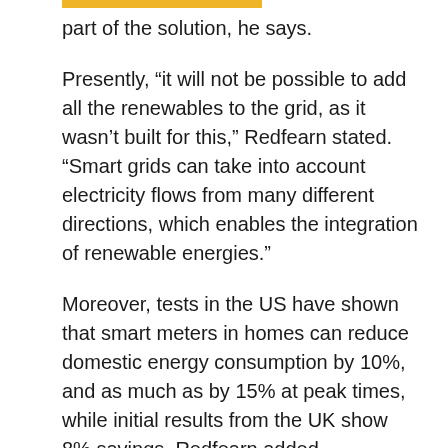part of the solution, he says.
Presently, “it will not be possible to add all the renewables to the grid, as it wasn’t built for this,” Redfearn stated. “Smart grids can take into account electricity flows from many different directions, which enables the integration of renewable energies.”
Moreover, tests in the US have shown that smart meters in homes can reduce domestic energy consumption by 10%, and as much as by 15% at peak times, while initial results from the UK show 8% savings, Redfearn added.
The EU plans to publish new proposals to improve the use of smart technologies to combat climate change in February, while smart grid technologies are thought to prove an important contributor to CO2 reduction plans. Many member states are facing